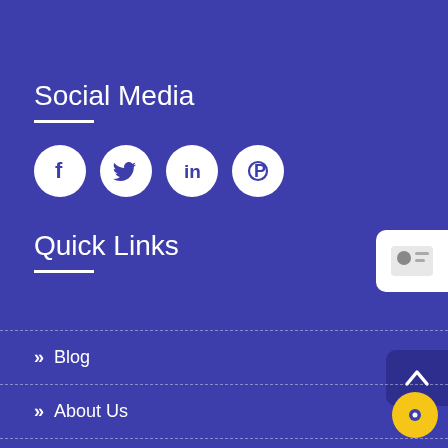Social Media
[Figure (infographic): Social media icons: Facebook, Twitter, LinkedIn, Pinterest — white circles on blue background]
Quick Links
>> Blog
>> About Us
>> B2B Mailing Lists
>> Technology Users Email List